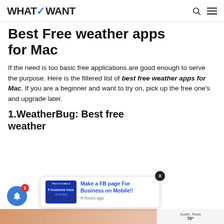WHATVWANT — navigation bar with search and menu icons
Best Free weather apps for Mac
If the need is too basic free applications are good enough to serve the purpose. Here is the filtered list of best free weather apps for Mac. If you are a beginner and want to try on, pick up the free one's and upgrade later.
1.WeatherBug: Best free weather...
[Figure (screenshot): Notification popup showing a Facebook page tutorial thumbnail with text 'Make a FB page For Business on Mobile!!' posted 8 hours ago, with a close button X. Also a notification bell button with badge count 1.]